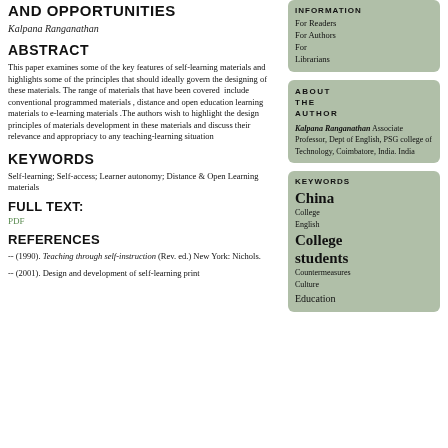AND OPPORTUNITIES
Kalpana Ranganathan
ABSTRACT
This paper examines some of the key features of self-learning materials and highlights some of the principles that should ideally govern the designing of these materials. The range of materials that have been covered include conventional programmed materials , distance and open education learning materials to e-learning materials .The authors wish to highlight the design principles of materials development in these materials and discuss their relevance and appropriateness to any teaching-learning situation
KEYWORDS
Self-learning; Self-access; Learner autonomy; Distance & Open Learning materials
FULL TEXT:
PDF
REFERENCES
-- (1990). Teaching through self-instruction (Rev. ed.) New York: Nichols.
-- (2001). Design and development of self-learning print
INFORMATION
For Readers
For Authors
For Librarians
ABOUT THE AUTHOR
Kalpana Ranganathan Associate Professor, Dept of English, PSG college of Technology, Coimbatore, India. India
KEYWORDS
China
College English
College students
Countermeasures
Culture
Education